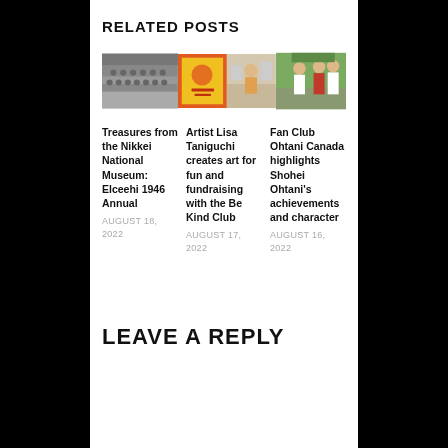RELATED POSTS
[Figure (photo): Three related post thumbnail images in a row: a black-and-white group photo, a red/yellow poster, and two color photos of people]
Treasures from the Nikkei National Museum: Elceehi 1946 Annual
AUGUST 18, 2022
Artist Lisa Taniguchi creates art for fun and fundraising with the Be Kind Club
AUGUST 17, 2022
Fan Club Ohtani Canada highlights Shohei Ohtani's achievements and character
AUGUST 16, 2022
LEAVE A REPLY